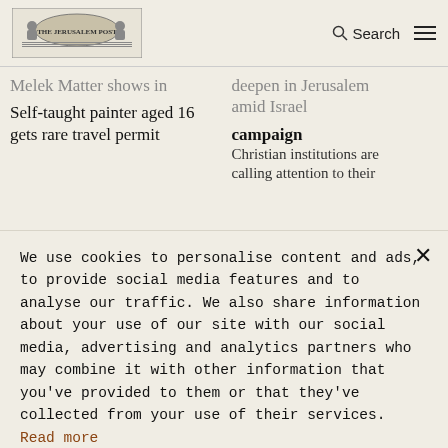[Figure (logo): Newspaper logo with illustration of figures and text]
Search
Melek Matter shows in
deepen in Jerusalem amid Israel campaign
Self-taught painter aged 16 gets rare travel permit
Christian institutions are calling attention to their
We use cookies to personalise content and ads, to provide social media features and to analyse our traffic. We also share information about your use of our site with our social media, advertising and analytics partners who may combine it with other information that you've provided to them or that they've collected from your use of their services. Read more
STRICTLY NECESSARY
TARGETING
UNCLASSIFIED
ACCEPT ALL
DECLINE ALL
SHOW DETAILS